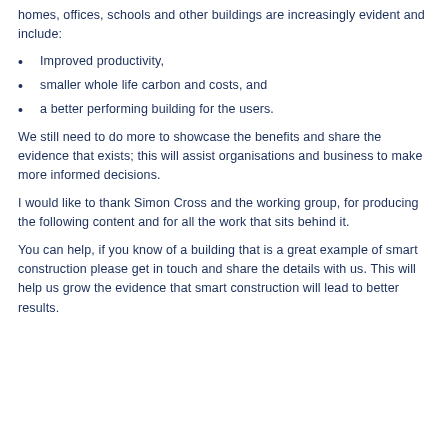homes, offices, schools and other buildings are increasingly evident and include:
Improved productivity,
smaller whole life carbon and costs, and
a better performing building for the users.
We still need to do more to showcase the benefits and share the evidence that exists; this will assist organisations and business to make more informed decisions.
I would like to thank Simon Cross and the working group, for producing the following content and for all the work that sits behind it.
You can help, if you know of a building that is a great example of smart construction please get in touch and share the details with us. This will help us grow the evidence that smart construction will lead to better results.